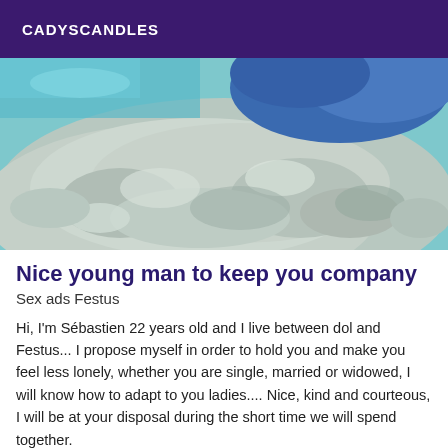CADYSCANDLES
[Figure (photo): Close-up photo of a rock or stone surface with blue fabric/clothing visible in the upper portion, teal/blue tinted image]
Nice young man to keep you company
Sex ads Festus
Hi, I'm Sébastien 22 years old and I live between dol and Festus... I propose myself in order to hold you and make you feel less lonely, whether you are single, married or widowed, I will know how to adapt to you ladies.... Nice, kind and courteous, I will be at your disposal during the short time we will spend together.
[Figure (photo): Partial photo visible at bottom of page, dark tones]